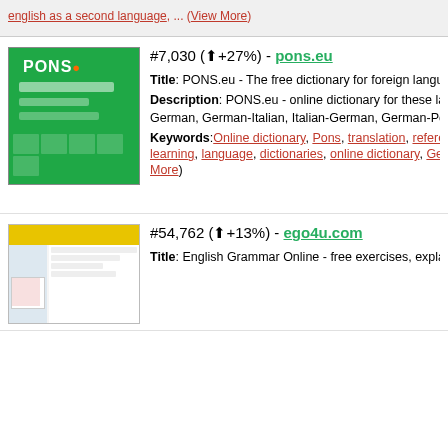english as a second language, ... (View More)
#7,030 (↑+27%) - pons.eu
[Figure (screenshot): Screenshot of pons.eu website with green background and PONS logo]
Title: PONS.eu - The free dictionary for foreign languages, G...
Description: PONS.eu - online dictionary for these langua...
German, German-Italian, Italian-German, German-Polish, Po...
Keywords: Online dictionary, Pons, translation, reference, E...
learning, language, dictionaries, online dictionary, German-...
More)
#54,762 (↑+13%) - ego4u.com
[Figure (screenshot): Screenshot of ego4u.com website with yellow header]
Title: English Grammar Online - free exercises, explanations...